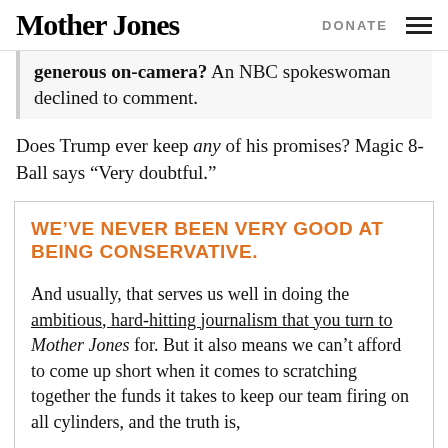Mother Jones  DONATE
generous on-camera? An NBC spokeswoman declined to comment.
Does Trump ever keep any of his promises? Magic 8-Ball says “Very doubtful.”
WE’VE NEVER BEEN VERY GOOD AT BEING CONSERVATIVE.
And usually, that serves us well in doing the ambitious, hard-hitting journalism that you turn to Mother Jones for. But it also means we can’t afford to come up short when it comes to scratching together the funds it takes to keep our team firing on all cylinders, and the truth is,